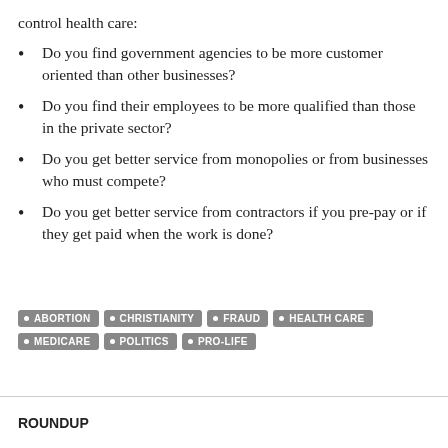control health care:
Do you find government agencies to be more customer oriented than other businesses?
Do you find their employees to be more qualified than those in the private sector?
Do you get better service from monopolies or from businesses who must compete?
Do you get better service from contractors if you pre-pay or if they get paid when the work is done?
ABORTION • CHRISTIANITY • FRAUD • HEALTH CARE • MEDICARE • POLITICS • PRO-LIFE
ROUNDUP